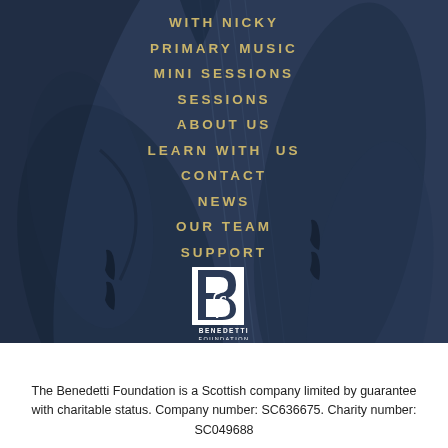WITH NICKY
PRIMARY MUSIC
MINI SESSIONS
SESSIONS
ABOUT US
LEARN WITH  US
CONTACT
NEWS
OUR TEAM
SUPPORT
[Figure (logo): Benedetti Foundation logo — white letter B with a treble clef inside, text BENEDETTI FOUNDATION below]
The Benedetti Foundation is a Scottish company limited by guarantee with charitable status. Company number: SC636675. Charity number: SC049688